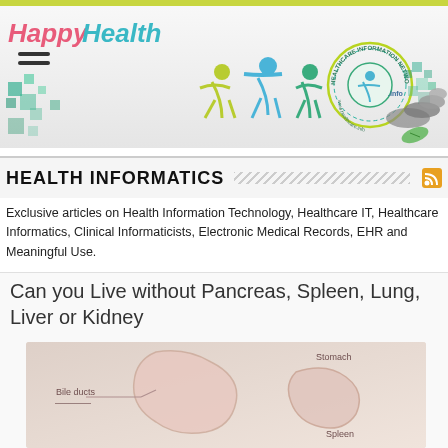[Figure (illustration): Happy Healthy healthcare information network website header banner with logo, human figures with raised arms, hands holding globe, green and teal decorative squares, balanced stones, and green leaf]
HEALTH INFORMATICS
Exclusive articles on Health Information Technology, Healthcare IT, Healthcare Informatics, Clinical Informaticists, Electronic Medical Records, EHR and Meaningful Use.
Can you Live without Pancreas, Spleen, Lung, Liver or Kidney
[Figure (illustration): Medical illustration of human internal organs showing stomach, bile ducts, and spleen labeled on a light background]